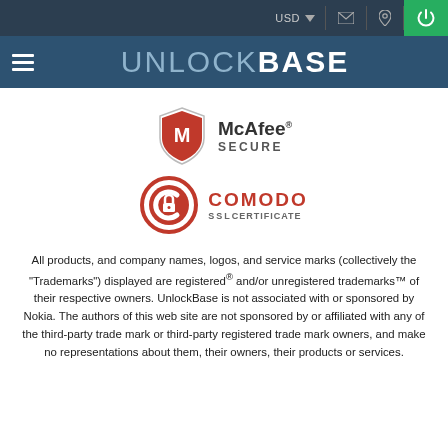USD  [mail icon] [location icon] [power icon]
UNLOCKBASE
[Figure (logo): McAfee SECURE badge — red and white shield with M logo, text: McAfee® SECURE]
[Figure (logo): Comodo SSL Certificate badge — red circular C lock icon, text: COMODO SSLCERTIFICATE]
All products, and company names, logos, and service marks (collectively the "Trademarks") displayed are registered® and/or unregistered trademarks™ of their respective owners. UnlockBase is not associated with or sponsored by Nokia. The authors of this web site are not sponsored by or affiliated with any of the third-party trade mark or third-party registered trade mark owners, and make no representations about them, their owners, their products or services.